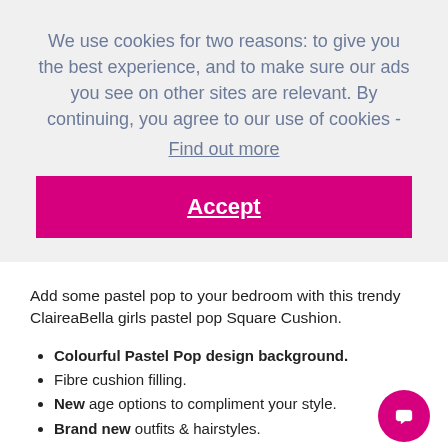We use cookies for two reasons: to give you the best experience, and to make sure our ads you see on other sites are relevant. By continuing, you agree to our use of cookies - Find out more
Accept
Add some pastel pop to your bedroom with this trendy ClaireaBella girls pastel pop Square Cushion.
Colourful Pastel Pop design background.
Fibre cushion filling.
New age options to compliment your style.
Brand new outfits & hairstyles.